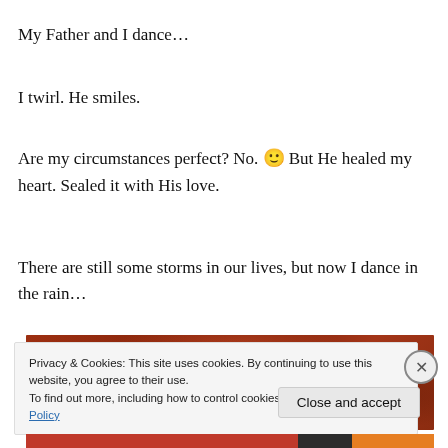My Father and I dance…
I twirl.  He smiles.
Are my circumstances perfect?  No. 🙂 But He healed my heart.  Sealed it with His love.
There are still some storms in our lives, but now I dance in the rain…
[Figure (photo): A dark reddish-brown textured surface, likely wood grain or leather, shown in close-up.]
Privacy & Cookies: This site uses cookies. By continuing to use this website, you agree to their use.
To find out more, including how to control cookies, see here: Cookie Policy
Close and accept